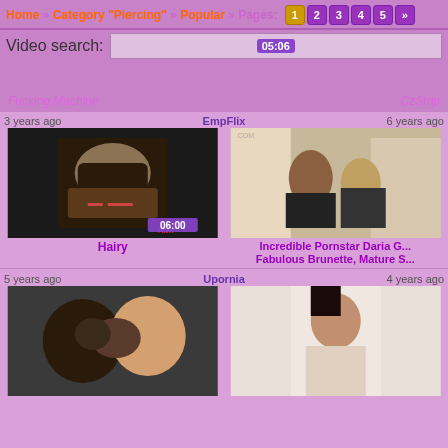Home » Category "Piercing" » Popular » Pages: 1 2 3 4 5 »
Video search: [05:06]
Fucking Machine | CzStrip
3 years ago | EmpFlix | 6 years ago
[Figure (photo): Thumbnail of tattooed person in leather harness, BDSM scene, duration 06:00, source RawXXX]
[Figure (photo): Thumbnail of two women in bedroom, one brunette one blonde]
Hairy
Incredible Pornstar Daria G... Fabulous Brunette, Mature S...
5 years ago | Upornia | 4 years ago
[Figure (photo): Thumbnail of couple kissing close-up]
[Figure (photo): Thumbnail of woman with dark hair]